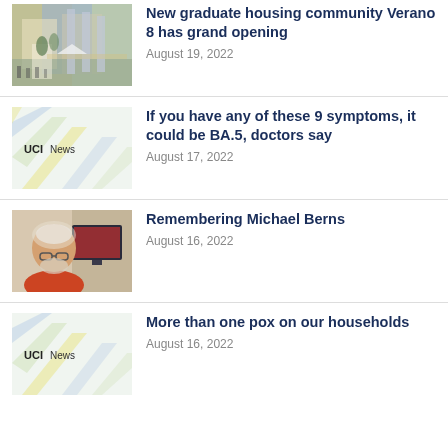[Figure (photo): Outdoor photo of a building complex with people gathered, likely a university housing community grand opening]
New graduate housing community Verano 8 has grand opening
August 19, 2022
[Figure (logo): UCI News placeholder image with diagonal colored stripe design and UCI News text]
If you have any of these 9 symptoms, it could be BA.5, doctors say
August 17, 2022
[Figure (photo): Portrait photo of Michael Berns, an older man with glasses and white beard wearing a red sweater]
Remembering Michael Berns
August 16, 2022
[Figure (logo): UCI News placeholder image with diagonal colored stripe design and UCI News text]
More than one pox on our households
August 16, 2022